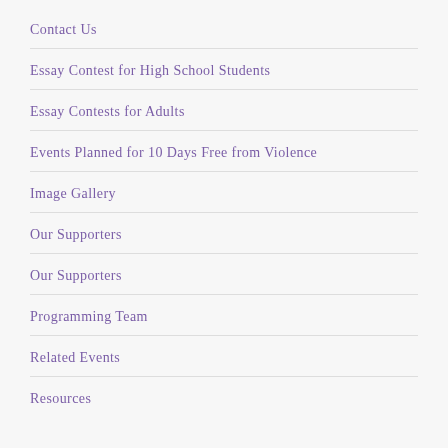Contact Us
Essay Contest for High School Students
Essay Contests for Adults
Events Planned for 10 Days Free from Violence
Image Gallery
Our Supporters
Our Supporters
Programming Team
Related Events
Resources